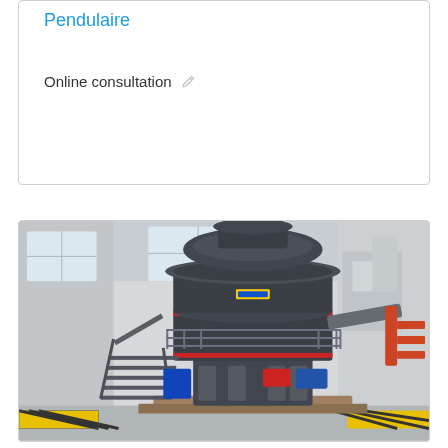Pendulaire
Online consultation
[Figure (photo): Industrial pendulum mill / Raymond mill machine installed inside a factory building. The large dark-grey grinding mill is positioned on a yellow-marked factory floor with metal staircases, red piping, and warehouse-style windows in the background.]